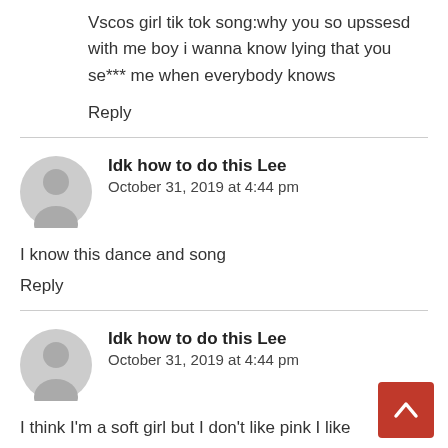Vscos girl tik tok song:why you so upssesd with me boy i wanna know lying that you se*** me when everybody knows
Reply
Idk how to do this Lee
October 31, 2019 at 4:44 pm
I know this dance and song
Reply
Idk how to do this Lee
October 31, 2019 at 4:44 pm
I think I'm a soft girl but I don't like pink I like